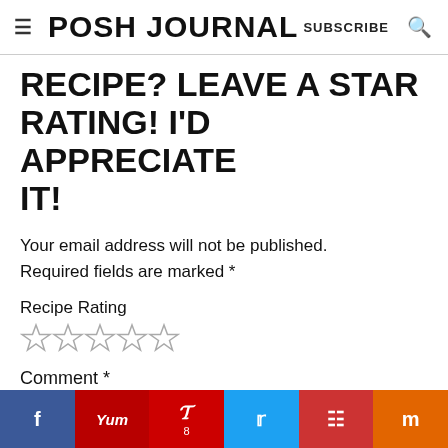POSH JOURNAL SUBSCRIBE
RECIPE? LEAVE A STAR RATING! I'D APPRECIATE IT!
Your email address will not be published. Required fields are marked *
Recipe Rating
[Figure (other): Five empty star rating icons]
Comment *
[Figure (other): Social sharing bar with buttons: f (Facebook, dark blue), Yum (red), Pinterest with badge 8 (red), Twitter (blue), Flipboard (dark red), Mix (orange)]